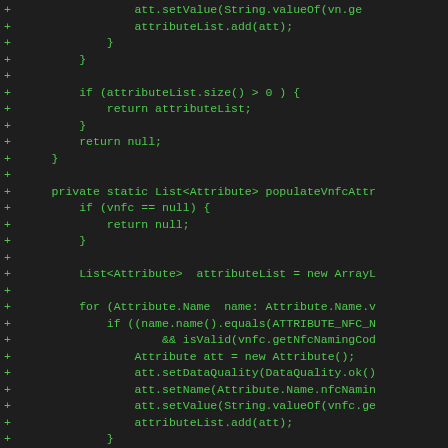[Figure (screenshot): Code diff showing Java source code with green plus signs indicating added lines. The code shows methods for populating attribute lists including attributeList.add(att), if statements checking attributeList.size() > 0, return statements, and a private static method populateVnfcAttr with logic for handling Attribute.Name enumerations, null checks, and setting data quality and values.]